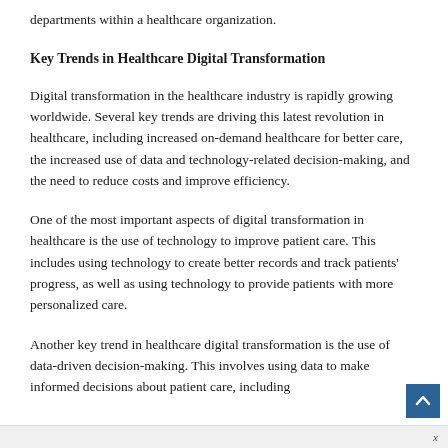departments within a healthcare organization.
Key Trends in Healthcare Digital Transformation
Digital transformation in the healthcare industry is rapidly growing worldwide. Several key trends are driving this latest revolution in healthcare, including increased on-demand healthcare for better care, the increased use of data and technology-related decision-making, and the need to reduce costs and improve efficiency.
One of the most important aspects of digital transformation in healthcare is the use of technology to improve patient care. This includes using technology to create better records and track patients’ progress, as well as using technology to provide patients with more personalized care.
Another key trend in healthcare digital transformation is the use of data-driven decision-making. This involves using data to make informed decisions about patient care, including